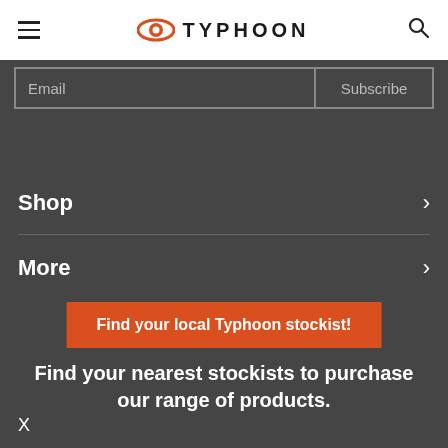TYPHOON — navigation bar with hamburger menu, Typhoon logo, and search icon
Email    Subscribe
Shop >
More >
Find your local Typhoon stockist!
Find your nearest stockists to purchase our range of products.
X